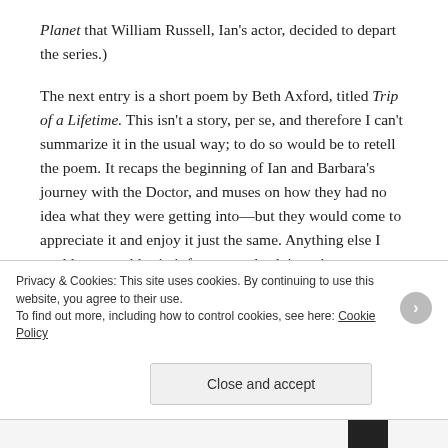Planet that William Russell, Ian's actor, decided to depart the series.)
The next entry is a short poem by Beth Axford, titled Trip of a Lifetime. This isn't a story, per se, and therefore I can't summarize it in the usual way; to do so would be to retell the poem. It recaps the beginning of Ian and Barbara's journey with the Doctor, and muses on how they had no idea what they were getting into—but they would come to appreciate it and enjoy it just the same. Anything else I could say would ruin it for you—check it out!
Privacy & Cookies: This site uses cookies. By continuing to use this website, you agree to their use. To find out more, including how to control cookies, see here: Cookie Policy